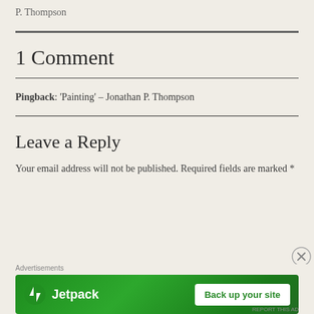P. Thompson
1 Comment
Pingback: 'Painting' – Jonathan P. Thompson
Leave a Reply
Your email address will not be published. Required fields are marked *
[Figure (infographic): Jetpack advertisement banner with green background, Jetpack logo on the left and 'Back up your site' button on the right]
Advertisements